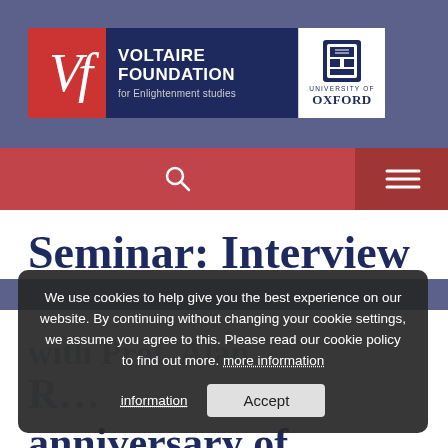[Figure (logo): Voltaire Foundation for Enlightenment studies logo with University of Oxford logo]
[Figure (infographic): Navigation bar with search icon and hamburger menu on red background]
Seminar: Interview
We use cookies to help give you the best experience on our website. By continuing without changing your cookie settings, we assume you agree to this. Please read our cookie policy to find out more. more information Accept
anniversary of Rousseau l'Holland's